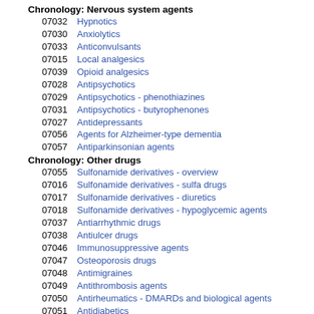Chronology: Nervous system agents
07032  Hypnotics
07030  Anxiolytics
07033  Anticonvulsants
07015  Local analgesics
07039  Opioid analgesics
07028  Antipsychotics
07029  Antipsychotics - phenothiazines
07031  Antipsychotics - butyrophenones
07027  Antidepressants
07056  Agents for Alzheimer-type dementia
07057  Antiparkinsonian agents
Chronology: Other drugs
07055  Sulfonamide derivatives - overview
07016  Sulfonamide derivatives - sulfa drugs
07017  Sulfonamide derivatives - diuretics
07018  Sulfonamide derivatives - hypoglycemic agents
07037  Antiarrhythmic drugs
07038  Antiulcer drugs
07046  Immunosuppressive agents
07047  Osteoporosis drugs
07048  Antimigraines
07049  Antithrombosis agents
07050  Antirheumatics - DMARDs and biological agents
07051  Antidiabetics
07052  Antidyslipidemic agents
07054  Antiglaucoma agents
Target-based classification: G protein-coupled receptors
07220  Cholinergic and anticholinergic drugs
07215  alpha-Adrenergic receptor agonists/antagonists
07214  beta-Adrenergic receptor agonists/antagonists
07213  Dopamine receptor agonists/antagonists